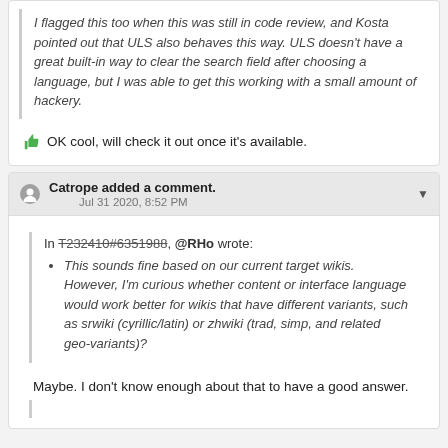I flagged this too when this was still in code review, and Kosta pointed out that ULS also behaves this way. ULS doesn't have a great built-in way to clear the search field after choosing a language, but I was able to get this working with a small amount of hackery.
OK cool, will check it out once it's available.
Catrope added a comment. Jul 31 2020, 8:52 PM
In T232410#6351988, @RHo wrote:
This sounds fine based on our current target wikis. However, I'm curious whether content or interface language would work better for wikis that have different variants, such as srwiki (cyrillic/latin) or zhwiki (trad, simp, and related geo-variants)?
Maybe. I don't know enough about that to have a good answer.